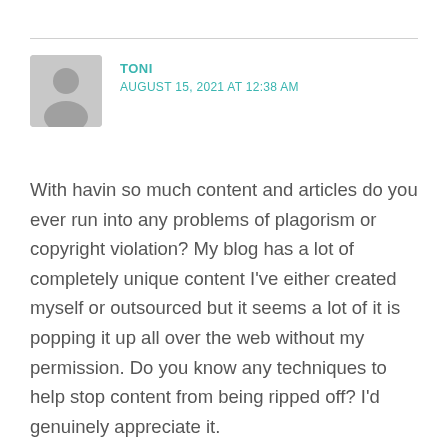TONI
AUGUST 15, 2021 AT 12:38 AM
With havin so much content and articles do you ever run into any problems of plagorism or copyright violation? My blog has a lot of completely unique content I've either created myself or outsourced but it seems a lot of it is popping it up all over the web without my permission. Do you know any techniques to help stop content from being ripped off? I'd genuinely appreciate it.